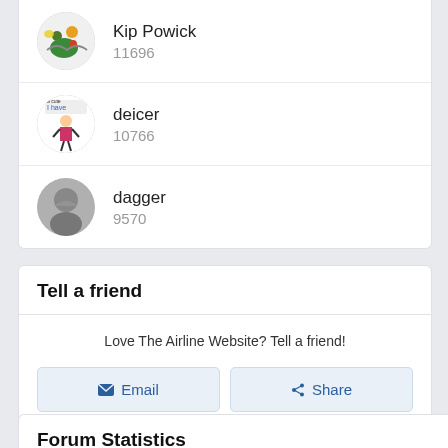Kip Powick 11696
deicer 10766
dagger 9570
Tell a friend
Love The Airline Website? Tell a friend!
Email
Share
Forum Statistics